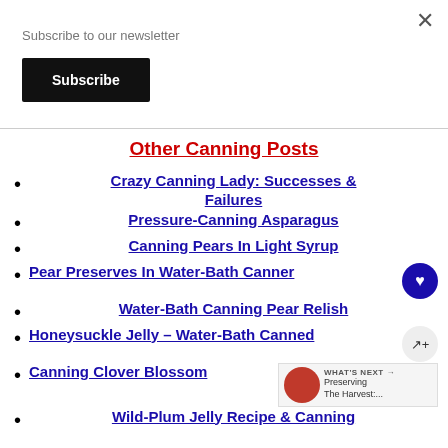Subscribe to our newsletter
Subscribe
Other Canning Posts
Crazy Canning Lady: Successes & Failures
Pressure-Canning Asparagus
Canning Pears In Light Syrup
Pear Preserves In Water-Bath Canner
Water-Bath Canning Pear Relish
Honeysuckle Jelly – Water-Bath Canned
Canning Clover Blossom
Wild-Plum Jelly Recipe & Canning